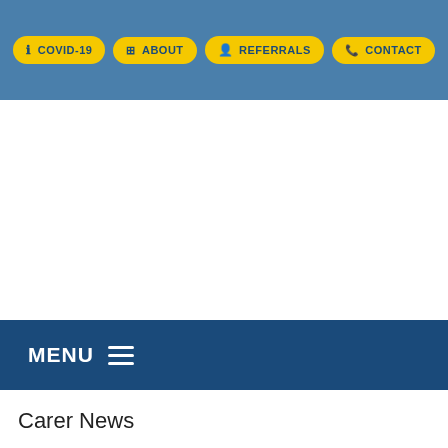COVID-19  ABOUT  REFERRALS  CONTACT
[Figure (screenshot): Large white blank area below the navigation header, likely a hero image area]
MENU
Carer News